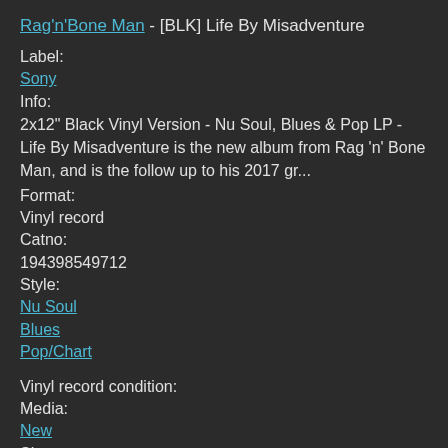Rag'n'Bone Man - [BLK] Life By Misadventure
Label:
Sony
Info:
2x12" Black Vinyl Version - Nu Soul, Blues & Pop LP - Life By Misadventure is the new album from Rag 'n' Bone Man, and is the follow up to his 2017 gr...
Format:
Vinyl record
Catno:
194398549712
Style:
Nu Soul
Blues
Pop/Chart
Vinyl record condition:
Media:
New
Sleeve:
New
(quick info)
Price: